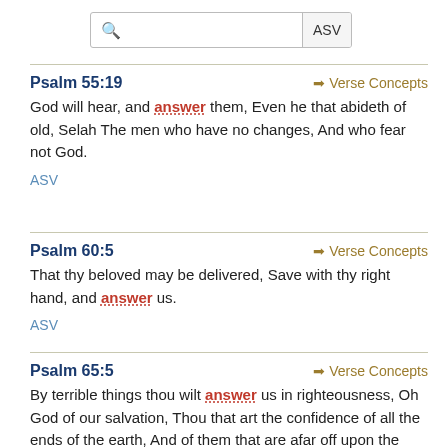Psalm 55:19 → Verse Concepts
God will hear, and answer them, Even he that abideth of old, Selah The men who have no changes, And who fear not God.
ASV
Psalm 60:5 → Verse Concepts
That thy beloved may be delivered, Save with thy right hand, and answer us.
ASV
Psalm 65:5 → Verse Concepts
By terrible things thou wilt answer us in righteousness, Oh God of our salvation, Thou that art the confidence of all the ends of the earth, And of them that are afar off upon the sea: